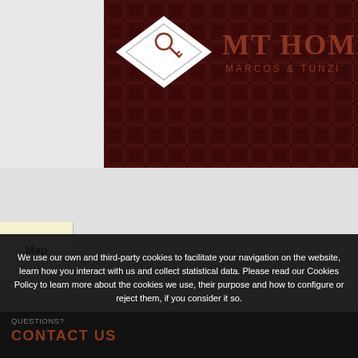[Figure (logo): MT Homes Marcos & Tunzi logo on dark brown tiled background with diamond-shaped white emblem containing a key icon]
Map
[Figure (map): Gray map area placeholder]
We use our own and third-party cookies to facilitate your navigation on the website, learn how you interact with us and collect statistical data. Please read our Cookies Policy to learn more about the cookies we use, their purpose and how to configure or reject them, if you consider it so.
Accept all
Manage Cookies
Reject
QUESTIONS?
CONTACT US